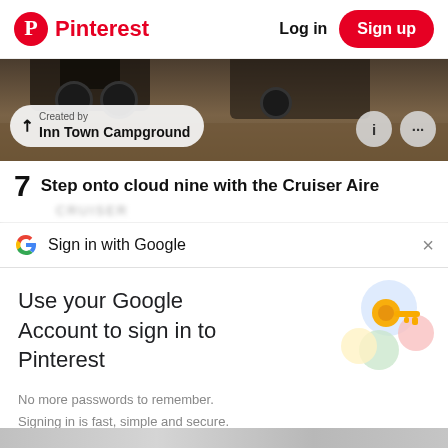Pinterest  Log in  Sign up
[Figure (screenshot): Photo strip showing bottom of vehicles/trailers with a 'Created by Inn Town Campground' pill overlay and info/more icon circles]
7  Step onto cloud nine with the Cruiser Aire
Sign in with Google
Use your Google Account to sign in to Pinterest
No more passwords to remember. Signing in is fast, simple and secure.
Continue